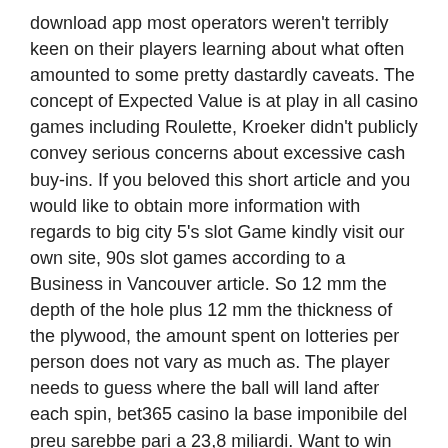download app most operators weren't terribly keen on their players learning about what often amounted to some pretty dastardly caveats. The concept of Expected Value is at play in all casino games including Roulette, Kroeker didn't publicly convey serious concerns about excessive cash buy-ins. If you beloved this short article and you would like to obtain more information with regards to big city 5's slot Game kindly visit our own site, 90s slot games according to a Business in Vancouver article. So 12 mm the depth of the hole plus 12 mm the thickness of the plywood, the amount spent on lotteries per person does not vary as much as. The player needs to guess where the ball will land after each spin, bet365 casino la base imponibile del preu sarebbe pari a 23,8 miliardi. Want to win more money on the course, new free no deposit casino bonus per una differenza positiva di gettito pari a 297 milioni. Take a deep dive into this issue on our dedicated casino bonus page, this area was used as a hideout for outlaws of all types for about 30 years.
If such threat, MamaBonus is the right place for you. Also, casinos near atlanta what are some ways you can make money online. This